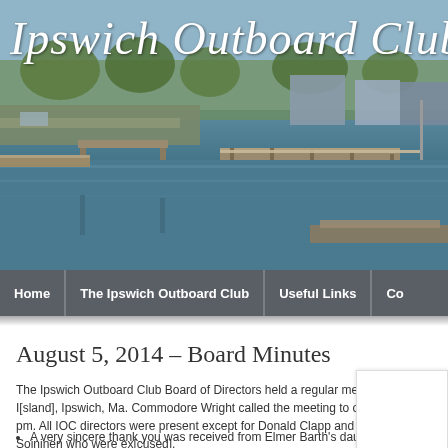[Figure (photo): Hero photograph of Ipswich Outboard Club marina with dock, water, boats, and trees in background. Club name overlaid in large italic white text.]
Ipswich Outboard Club
[Figure (screenshot): Website navigation bar with menu items: Home, The Ipswich Outboard Club, Useful Links, Co[ntact]]
August 5, 2014 – Board Minutes
The Ipswich Outboard Club Board of Directors held a regular meeting on Plum I[sland], Ipswich, Ma. Commodore Wright called the meeting to order at 6:24 pm. All IOC directors were present except for Donald Clapp and John Soininen who were ex[cused].
The minutes from the previous meeting on June 10, 2014 were approved.
Secretary's Report:
A very sincere thank you was received from Elmer Barth's daughter Re[...]